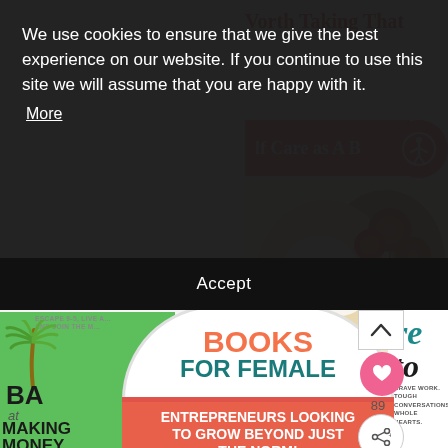Worth Taking That
lf Care as A B
[Figure (photo): Floral arrangement with white roses and orange dried flowers]
[Figure (screenshot): Cookie consent overlay with dark background reading: We use cookies to ensure that we give the best experience on our website. If you continue to use this site we will assume that you are happy with it. More | Accept]
We use cookies to ensure that we give the best experience on our website. If you continue to use this site we will assume that you are happy with it.
More
Accept
[Figure (illustration): Books for Female Entrepreneurs promotional graphic with circle logo showing BOOKS FOR FEMALE in pink and teal, coral banner reading ENTREPRENEURS LOOKING TO GROW BEYOND JUST THE NORM! LADIES MAKE MONEY ONLINE]
BOOKS FOR FEMALE
ENTREPRENEURS LOOKING TO GROW BEYOND JUST THE NORM!
LADIES MAKE MONEY ONLINE
[Figure (photo): Green book cover showing palm tree, ESCAPE 9-5, LIVE A..., AND JOIN THE M..., BA, at, making money]
[Figure (photo): Book cover showing re, to, lead, BRAVE WORK. TOUGH CONVERSATIONS. WHOLE HEARTS.]